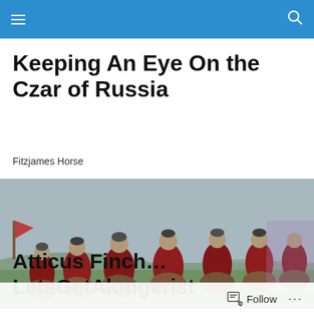≡  🔍
Keeping An Eye On the Czar of Russia
Fitzjames Horse
[Figure (photo): Historical painting or illustration showing soldiers on horseback in red uniforms riding across a green landscape]
Atticus Finch… LetsGetAlongerist
Follow  ...